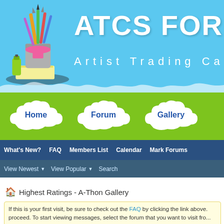[Figure (screenshot): ATCS For All website header banner with blue sky background, art supplies logo on left, site title 'ATCS FOR ALL' and subtitle 'Artist Trading Ca...' on right]
Home   Forum   Gallery
What's New?   FAQ   Members List   Calendar   Mark Forums
View Newest ▼   View Popular ▼   Search
Highest Ratings - A-Thon Gallery
If this is your first visit, be sure to check out the FAQ by clicking the link above. proceed. To start viewing messages, select the forum that you want to visit fro...